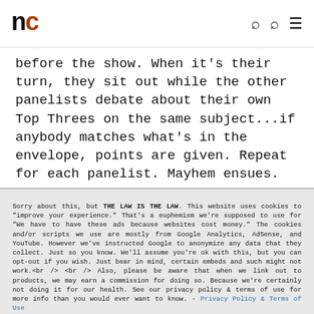nc
before the show. When it's their turn, they sit out while the other panelists debate about their own Top Threes on the same subject...if anybody matches what's in the envelope, points are given. Repeat for each panelist. Mayhem ensues.
Sorry about this, but THE LAW IS THE LAW. This website uses cookies to "improve your experience." That's a euphemism we're supposed to use for "We have to have these ads because websites cost money." The cookies and/or scripts we use are mostly from Google Analytics, AdSense, and YouTube. However we've instructed Google to anonymize any data that they collect. Just so you know. We'll assume you're ok with this, but you can opt-out if you wish. Just bear in mind, certain embeds and such might not work.<br /> <br /> Also, please be aware that when we link out to products, we may earn a commission for doing so. Because we're certainly not doing it for our health. See our privacy policy & terms of use for more info than you would ever want to know. - Privacy Policy & Terms of Use